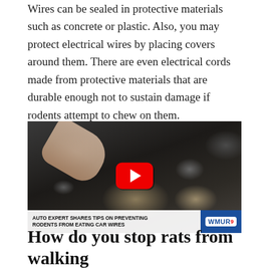Wires can be sealed in protective materials such as concrete or plastic. Also, you may protect electrical wires by placing covers around them. There are even electrical cords made from protective materials that are durable enough not to sustain damage if rodents attempt to chew on them.
[Figure (screenshot): Video thumbnail showing a hand pointing at rodent damage inside a car engine bay, with YouTube play button overlay. Lower bar reads: AUTO EXPERT SHARES TIPS ON PREVENTING RODENTS FROM EATING CAR WIRES. WMUR9 logo on right.]
How do you stop rats from walking